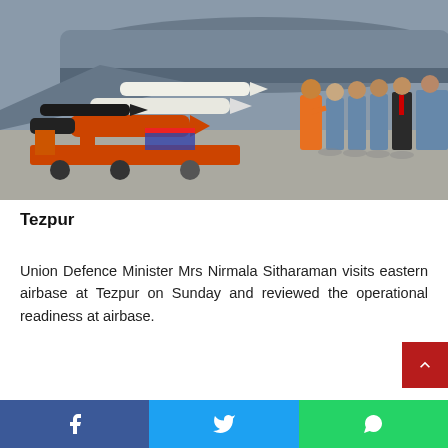[Figure (photo): Union Defence Minister Mrs Nirmala Sitharaman visiting eastern airbase at Tezpur. She is seen in an orange sari speaking with Indian Air Force officers in blue uniforms on the tarmac. Military missiles and aircraft are visible in the foreground.]
Tezpur
Union Defence Minister Mrs Nirmala Sitharaman visits eastern airbase at Tezpur on Sunday and reviewed the operational readiness at airbase.